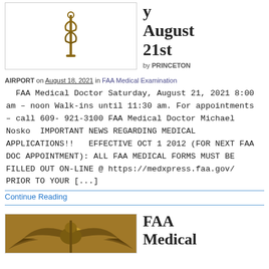[Figure (illustration): Medical caduceus symbol (staff with two snakes) rendered in bronze/gold color, within a bordered image box]
y August 21st
by PRINCETON
AIRPORT on August 18, 2021 in FAA Medical Examination
FAA Medical Doctor Saturday, August 21, 2021 8:00 am – noon Walk-ins until 11:30 am. For appointments – call 609-921-3100 FAA Medical Doctor Michael Nosko  IMPORTANT NEWS REGARDING MEDICAL APPLICATIONS!!   EFFECTIVE OCT 1 2012 (FOR NEXT FAA DOC APPOINTMENT): ALL FAA MEDICAL FORMS MUST BE FILLED OUT ON-LINE @ https://medxpress.faa.gov/ PRIOR TO YOUR [...]
Continue Reading
[Figure (illustration): Eagle with spread wings rendered in bronze/gold color, within a bordered image box]
FAA Medical